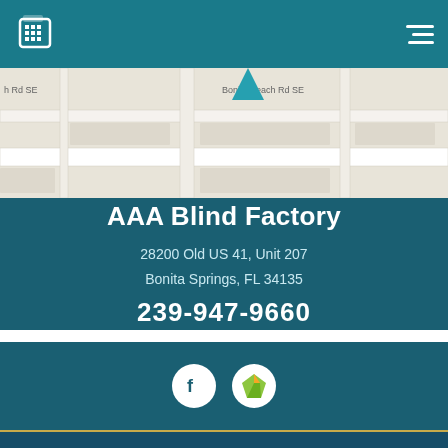AAA Blind Factory website header with phone icon and menu
[Figure (map): Street map showing location near Bonita Beach Rd SE with a teal map pin marker]
AAA Blind Factory
28200 Old US 41, Unit 207
Bonita Springs, FL 34135
239-947-9660
[Figure (infographic): Social media icons: Facebook circle icon and a green/yellow diamond shape icon on white circles]
© 2022 | Privacy Policy | Terms of Use
design by [logo]